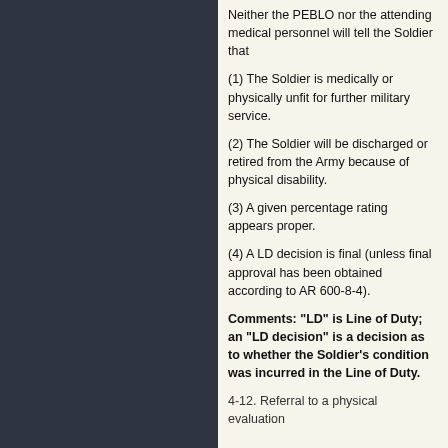Neither the PEBLO nor the attending medical personnel will tell the Soldier that
(1) The Soldier is medically or physically unfit for further military service.
(2) The Soldier will be discharged or retired from the Army because of physical disability.
(3) A given percentage rating appears proper.
(4) A LD decision is final (unless final approval has been obtained according to AR 600-8-4).
Comments: "LD" is Line of Duty; an "LD decision" is a decision as to whether the Soldier's condition was incurred in the Line of Duty.
4-12. Referral to a physical evaluation